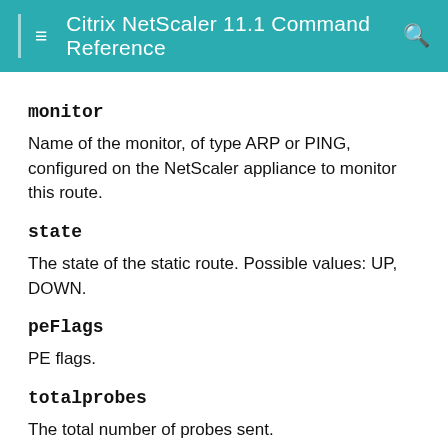Citrix NetScaler 11.1 Command Reference
monitor
Name of the monitor, of type ARP or PING, configured on the NetScaler appliance to monitor this route.
state
The state of the static route. Possible values: UP, DOWN.
peFlags
PE flags.
totalprobes
The total number of probes sent.